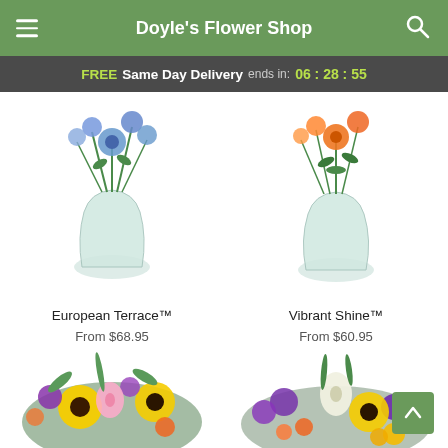Doyle's Flower Shop
FREE Same Day Delivery ends in: 06 : 28 : 55
[Figure (photo): European Terrace flower arrangement in clear glass vase with blue and mixed flowers]
European Terrace™
From $68.95
[Figure (photo): Vibrant Shine flower arrangement in clear glass vase with orange and green flowers]
Vibrant Shine™
From $60.95
[Figure (photo): Large colorful bouquet with sunflowers, pink lilies, purple and orange flowers]
[Figure (photo): Large colorful bouquet with sunflowers, white lilies, purple and yellow flowers]